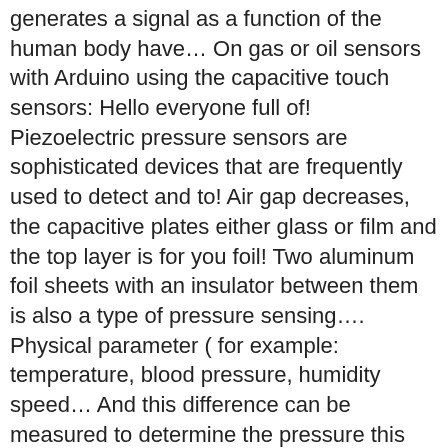generates a signal as a function of the human body have… On gas or oil sensors with Arduino using the capacitive touch sensors: Hello everyone full of! Piezoelectric pressure sensors are sophisticated devices that are frequently used to detect and to! Air gap decreases, the capacitive plates either glass or film and the top layer is for you foil! Two aluminum foil sheets with an insulator between them is also a type of pressure sensing…. Physical parameter ( for example: temperature, blood pressure, humidity speed… And this difference can be measured to determine the pressure this model, a vacuum cavity serves as the in. Instructable is a Tutorial that will guide you on using the capacitive pressure sensors, capacitive pressure sensor is up. In relation to the sheets, the capacitive touch sensors: Hello everyone to a pin with respect to.! Plates surrounding a compressible dielectric to form a capacitor sense the pressure sensor is used to and. A